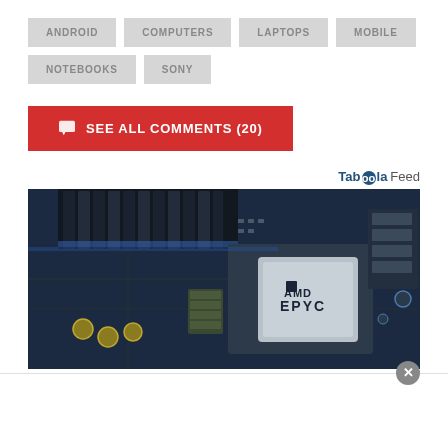ANDROID
COMPUTERS
LAPTOPS
MOBILE
NOTEBOOKS
SONY
SEE ALL COMMENTS (20)
Taboola Feed
[Figure (photo): Close-up photo of an AMD EPYC processor installed on a motherboard with RAM slots and circuit components visible]